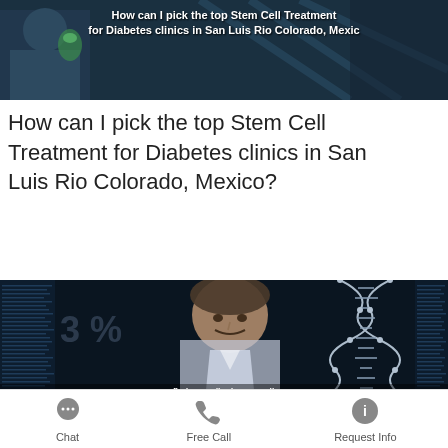[Figure (photo): Medical/science related image with scientist working with green liquid, text overlay about stem cell treatment for diabetes in San Luis Rio Colorado, Mexico]
How can I pick the top Stem Cell Treatment for Diabetes clinics in San Luis Rio Colorado, Mexico?
[Figure (photo): Female scientist holding DNA double helix model against dark data/code background, text overlay: How can I find accredited Stem Cell Treatment]
Chat   Free Call   Request Info